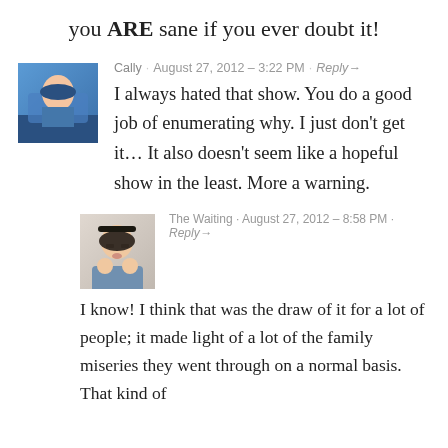you ARE sane if you ever doubt it!
[Figure (photo): Avatar photo of user Cally]
Cally · August 27, 2012 – 3:22 PM · Reply→
I always hated that show. You do a good job of enumerating why. I just don't get it... It also doesn't seem like a hopeful show in the least. More a warning.
[Figure (photo): Avatar photo of user The Waiting]
The Waiting · August 27, 2012 – 8:58 PM · Reply→
I know! I think that was the draw of it for a lot of people; it made light of a lot of the family miseries they went through on a normal basis. That kind of